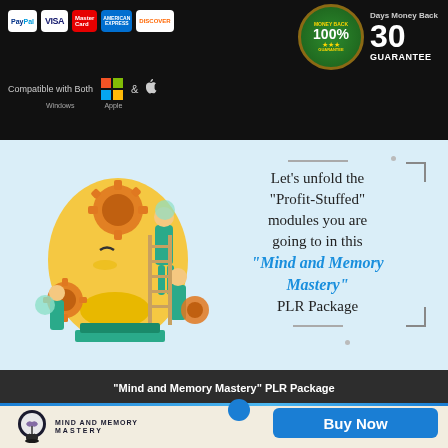[Figure (infographic): Top black banner with payment icons (PayPal, Visa, MasterCard, American Express, Discover), Windows and Apple compatibility logos, and a 100% 30 Days Money Back Guarantee badge]
[Figure (illustration): Light blue section with illustration of people working on a large human head with gears on the left, and text on the right: Let's unfold the Profit-Stuffed modules you are going to in this 'Mind and Memory Mastery' PLR Package]
"Mind and Memory Mastery" PLR Package
[Figure (logo): Mind and Memory Mastery logo with brain icon on cream/beige background]
[Figure (infographic): Blue Buy Now button]